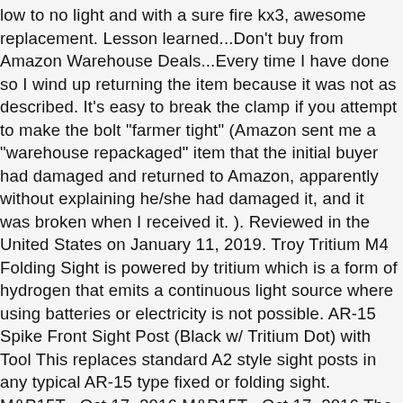low to no light and with a sure fire kx3, awesome replacement. Lesson learned...Don't buy from Amazon Warehouse Deals...Every time I have done so I wind up returning the item because it was not as described. It's easy to break the clamp if you attempt to make the bolt "farmer tight" (Amazon sent me a "warehouse repackaged" item that the initial buyer had damaged and returned to Amazon, apparently without explaining he/she had damaged it, and it was broken when I received it. ). Reviewed in the United States on January 11, 2019. Troy Tritium M4 Folding Sight is powered by tritium which is a form of hydrogen that emits a continuous light source where using batteries or electricity is not possible. AR-15 Spike Front Sight Post (Black w/ Tritium Dot) with Tool This replaces standard A2 style sight posts in any typical AR-15 type fixed or folding sight. M&P15T , Oct 17, 2016 M&P15T , Oct 17, 2016 The CSAT rear sight was designed by Paul Howe to allow the operator to accurately engage targets from 7yds to 100yds without moving hands to flip sights or have a second set of sights. Best sights on the market.